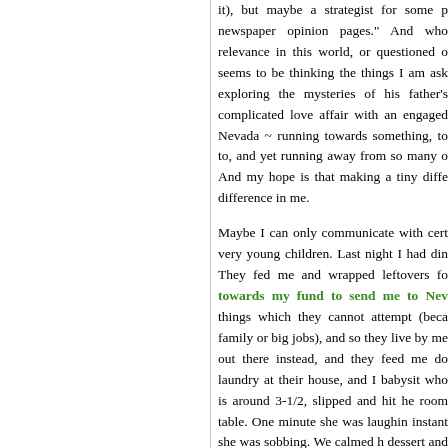it), but maybe a strategist for some p newspaper opinion pages." And who relevance in this world, or questioned o seems to be thinking the things I am ask exploring the mysteries of his father's complicated love affair with an engaged Nevada ~ running towards something, to to, and yet running away from so many o And my hope is that making a tiny diffe difference in me.

Maybe I can only communicate with cert very young children. Last night I had din They fed me and wrapped leftovers fo towards my fund to send me to Nev things which they cannot attempt (beca family or big jobs), and so they live by me out there instead, and they feed me do laundry at their house, and I babysit who is around 3-1/2, slipped and hit he room table. One minute she was laughin instant she was sobbing. We calmed h dessert and she said, suddenly, "Look! me as so honest and pure that she coul